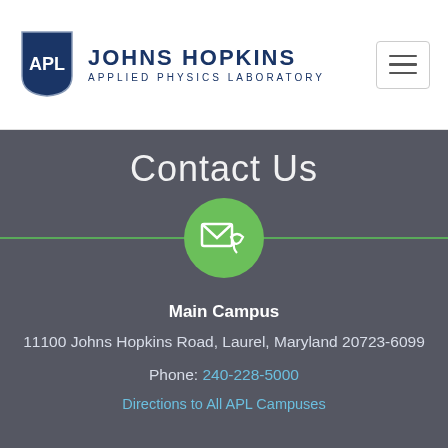[Figure (logo): Johns Hopkins APL shield logo with 'APL' text in white on dark blue shield, alongside 'JOHNS HOPKINS' in bold blue uppercase and 'APPLIED PHYSICS LABORATORY' in smaller blue uppercase letters]
[Figure (other): Hamburger menu button with three horizontal lines in a rounded rectangle border]
Contact Us
[Figure (illustration): Green circle icon containing a white envelope and phone receiver symbol, centered on a horizontal green divider line]
Main Campus
11100 Johns Hopkins Road, Laurel, Maryland 20723-6099
Phone: 240-228-5000
Directions to All APL Campuses